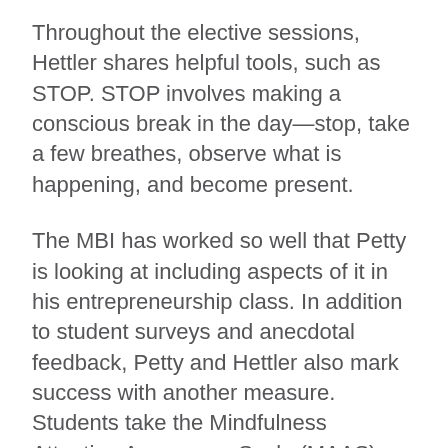Throughout the elective sessions, Hettler shares helpful tools, such as STOP. STOP involves making a conscious break in the day—stop, take a few breathes, observe what is happening, and become present.
The MBI has worked so well that Petty is looking at including aspects of it in his entrepreneurship class. In addition to student surveys and anecdotal feedback, Petty and Hettler also mark success with another measure. Students take the Mindfulness Attention Awareness Scale (MAAS), which was developed at Virginia Commonwealth University, three times during the program—before and after the elective and at the end of the